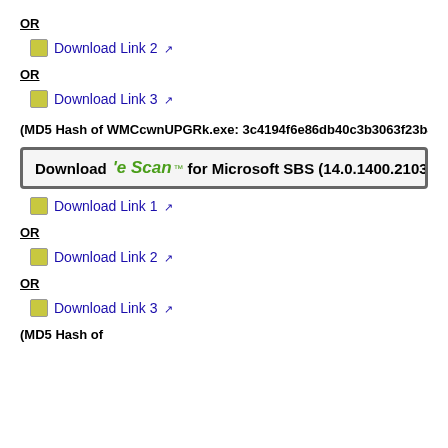OR
Download Link 2 [external link]
OR
Download Link 3 [external link]
(MD5 Hash of WMCcwnUPGRk.exe: 3c4194f6e86db40c3b3063f23b4e5dd...
[Figure (infographic): Banner: Download 'e Scan' for Microsoft SBS (14.0.1400.2103) (size: 1.09...)]
Download Link 1 [external link]
OR
Download Link 2 [external link]
OR
Download Link 3 [external link]
(MD5 Hash of ...